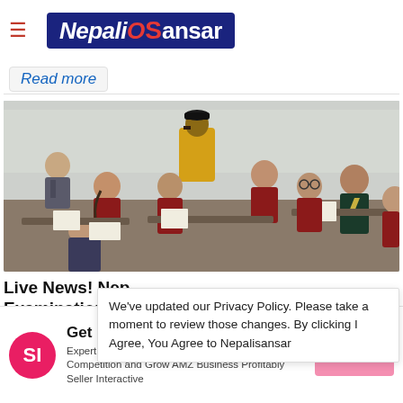NepaliSansar
Read more
[Figure (photo): Students in school uniforms sitting at desks writing an exam, with a teacher in a yellow jacket standing and supervising in the background.]
Live News! Nep... Examinations 2...
g a stop to...
We've updated our Privacy Policy. Please take a moment to review those changes. By clicking I Agree, You Agree to Nepalisansar
[Figure (infographic): Advertisement banner: Get Free Account Audit Today. Expert Consultation to Get Ahead of the Competition and Grow AMZ Business Profitably Seller Interactive. Pink SI logo circle on left, pink button on right.]